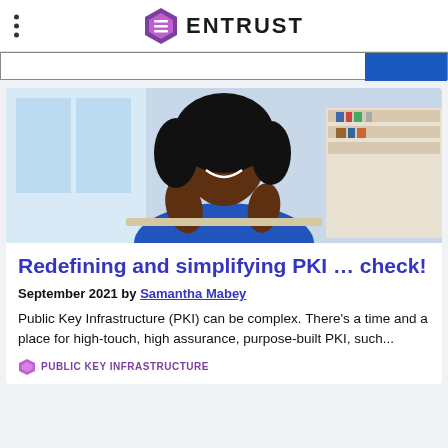ENTRUST
[Figure (photo): A smiling woman in a blue sleeveless top seated in an office environment with bookshelves and windows in the background.]
Redefining and simplifying PKI ... check!
September 2021 by Samantha Mabey
Public Key Infrastructure (PKI) can be complex. There’s a time and a place for high-touch, high assurance, purpose-built PKI, such...
PUBLIC KEY INFRASTRUCTURE